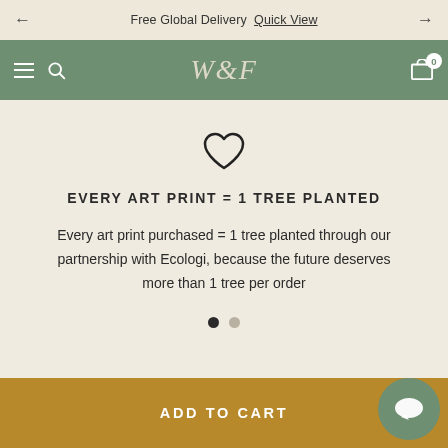Free Global Delivery  Quick View
[Figure (logo): W&F brand logo in italic serif font on green navigation bar]
[Figure (illustration): Heart outline icon]
EVERY ART PRINT = 1 TREE PLANTED
Every art print purchased = 1 tree planted through our partnership with Ecologi, because the future deserves more than 1 tree per order
ADD TO CART